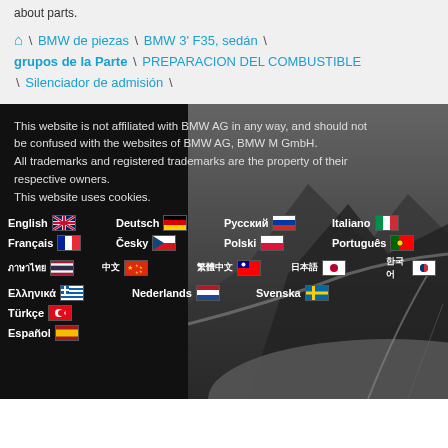about parts.
⌂ \ BMW de piezas \ BMW 3' F35, sedán \ grupos de la Parte \ PREPARACION DEL COMBUSTIBLE \ Silenciador de admisión \
This website is not affiliated with BMW AG in any way, and should not be confused with the websites of BMW AG, BMW M GmbH. All trademarks and registered trademarks are the property of their respective owners. This website uses cookies.
Language list: English, Deutsch, Русский, Italiano, Français, Česky, Polski, Português, Thai, Chinese, Traditional Chinese, Japanese, Korean, Ελληνικά, Nederlands, Svenska, Türkçe, Español